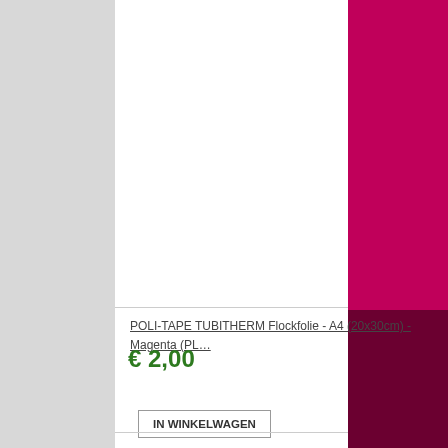POLI-TAPE TUBITHERM Flockfolie - A4 (20x30cm) - Magenta (PL…
€ 2,00
IN WINKELWAGEN